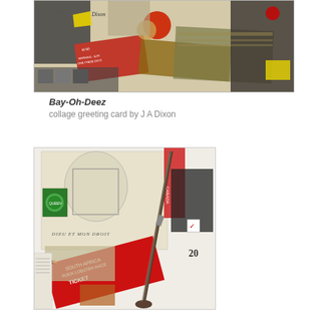[Figure (photo): Collage greeting card titled Bay-Oh-Deez by J A Dixon. Mixed media collage featuring vintage photographs, tickets, stamps, a baseball, red decorative elements, and various ephemera on a tan/cream background.]
Bay-Oh-Deez
collage greeting card by J A Dixon
[Figure (photo): Second collage artwork by J A Dixon featuring a vintage rifle/musket, royal coat of arms, postage stamps including a green stamp with queen portrait, red ticket stubs, heraldic imagery with text 'DIEU ET MON DROIT', and various mixed media ephemera on white background.]